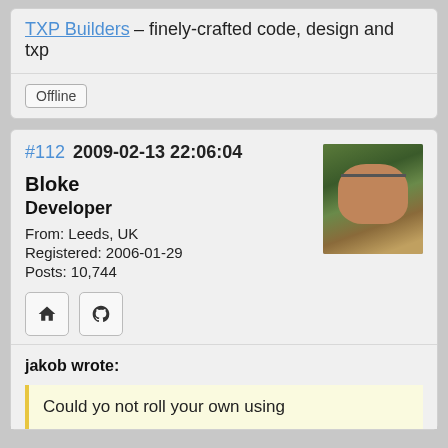TXP Builders – finely-crafted code, design and txp
Offline
#112  2009-02-13 22:06:04
[Figure (photo): User avatar photo of Bloke, showing a bearded person outdoors]
Bloke
Developer
From: Leeds, UK
Registered: 2006-01-29
Posts: 10,744
jakob wrote:
Could yo not roll your own using